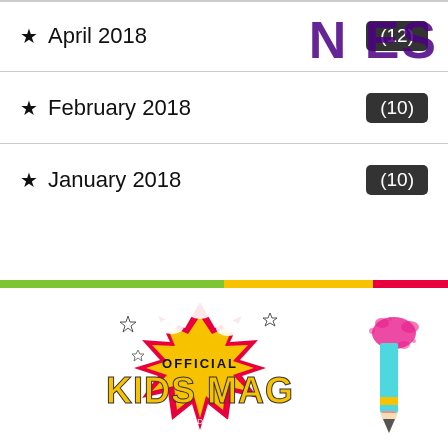April 2018 (12)
February 2018 (10)
January 2018 (10)
[Figure (logo): Official Kids Mag logo with comic-style explosion graphic and text OFFICIALKIDSMAG.COM]
[Figure (illustration): Pencil with pink paint splatter illustration]